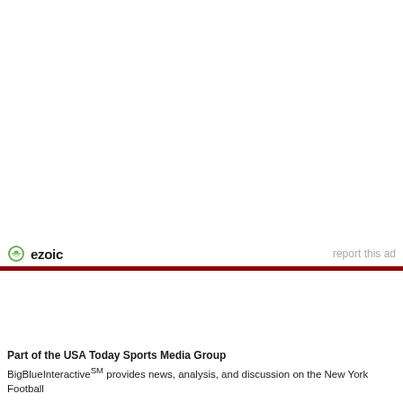[Figure (other): Ezoic advertisement area — blank white space with Ezoic logo and 'report this ad' link at bottom]
Part of the USA Today Sports Media Group
BigBlueInteractiveSM provides news, analysis, and discussion on the New York Football